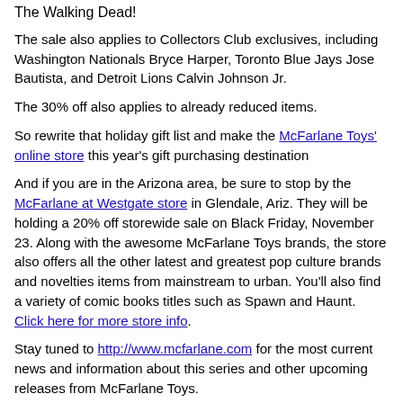The Walking Dead!
The sale also applies to Collectors Club exclusives, including Washington Nationals Bryce Harper, Toronto Blue Jays Jose Bautista, and Detroit Lions Calvin Johnson Jr.
The 30% off also applies to already reduced items.
So rewrite that holiday gift list and make the McFarlane Toys' online store this year's gift purchasing destination
And if you are in the Arizona area, be sure to stop by the McFarlane at Westgate store in Glendale, Ariz. They will be holding a 20% off storewide sale on Black Friday, November 23. Along with the awesome McFarlane Toys brands, the store also offers all the other latest and greatest pop culture brands and novelties items from mainstream to urban. You'll also find a variety of comic books titles such as Spawn and Haunt. Click here for more store info.
Stay tuned to http://www.mcfarlane.com for the most current news and information about this series and other upcoming releases from McFarlane Toys.
Submitted by News on Sun, 2012-11-18 19:53